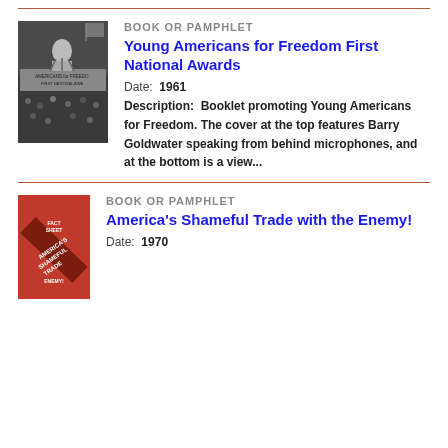[Figure (photo): Black and white photograph of a person speaking at a podium with microphones, with a crowd and banner visible. Banner text includes 'Americans for Freedom' and 'First National Award'.]
BOOK OR PAMPHLET
Young Americans for Freedom First National Awards
Date:  1961
Description:  Booklet promoting Young Americans for Freedom. The cover at the top features Barry Goldwater speaking from behind microphones, and at the bottom is a view...
[Figure (photo): Cover of a red booklet titled 'America's Shameful Trade with the Enemy!']
BOOK OR PAMPHLET
America's Shameful Trade with the Enemy!
Date:  1970